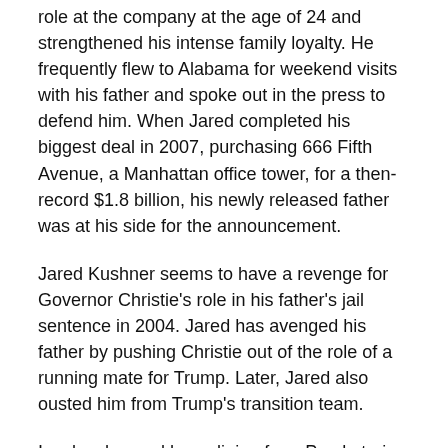role at the company at the age of 24 and strengthened his intense family loyalty. He frequently flew to Alabama for weekend visits with his father and spoke out in the press to defend him. When Jared completed his biggest deal in 2007, purchasing 666 Fifth Avenue, a Manhattan office tower, for a then-record $1.8 billion, his newly released father was at his side for the announcement.
Jared Kushner seems to have a revenge for Governor Christie's role in his father's jail sentence in 2004. Jared has avenged his father by pushing Christie out of the role of a running mate for Trump. Later, Jared also ousted him from Trump's transition team.
Ivanka changed her religion from Presbyterian to Jewish to marry Kushner. She, like Topham, married a spouse who is Jewish. They have committed the same sin that Israelites committed in the days of Ezra and Nehemiah. And how many churches will say that they both committed an awful sin and need to release both their spouses and their children?
Who do you believe? What do you believe? Do you believe that